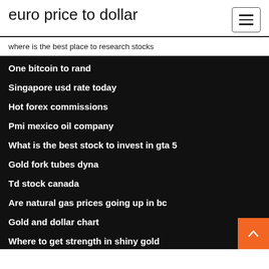euro price to dollar
where is the best place to research stocks
One bitcoin to rand
Singapore usd rate today
Hot forex commissions
Pmi mexico oil company
What is the best stock to invest in gta 5
Gold fork tubes dyna
Td stock canada
Are natural gas prices going up in bc
Gold and dollar chart
Where to get strength in shiny gold